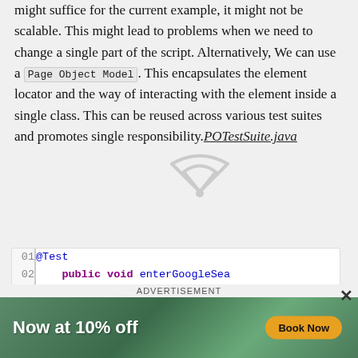might suffice for the current example, it might not be scalable. This might lead to problems when we need to change a single part of the script. Alternatively, We can use a Page Object Model. This encapsulates the element locator and the way of interacting with the element inside a single class. This can be reused across various test suites and promotes single responsibility. POTestSuite.java
[Figure (screenshot): Code block showing Java test code with line numbers 01-08. Lines include @Test annotation, public void enterGoogleSea..., googleHomePage.openPag..., googleHomePage.searchT..., Assert.assertEquals("S..., closing brace.]
ADVERTISEMENT
[Figure (photo): Advertisement banner showing 'Now at 10% off' text with a Book Now button on a green/outdoor background.]